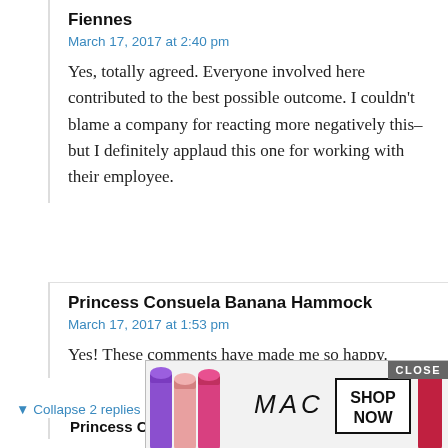Fiennes
March 17, 2017 at 2:40 pm
Yes, totally agreed. Everyone involved here contributed to the best possible outcome. I couldn't blame a company for reacting more negatively this–but I definitely applaud this one for working with their employee.
Princess Consuela Banana Hammock
March 17, 2017 at 1:53 pm
Yes! These comments have made me so happy.
▼ Collapse 2 replies
Princess Consuela Banana Hammock
Mar
So
[Figure (photo): MAC cosmetics advertisement showing lipsticks in purple, pink, and red colors alongside the MAC logo and a SHOP NOW button with CLOSE button in the corner]